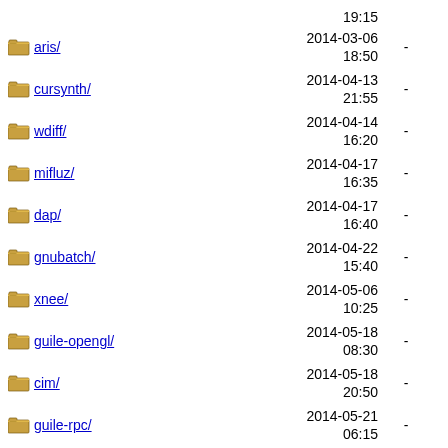aris/ 2014-03-06 18:50 -
cursynth/ 2014-04-13 21:55 -
wdiff/ 2014-04-14 16:20 -
mifluz/ 2014-04-17 16:35 -
dap/ 2014-04-17 16:40 -
gnubatch/ 2014-04-22 15:40 -
xnee/ 2014-05-06 10:25 -
guile-opengl/ 2014-05-18 08:30 -
cim/ 2014-05-18 20:50 -
guile-rpc/ 2014-05-21 06:15 -
anubis/ 2014-05-23 16:40 -